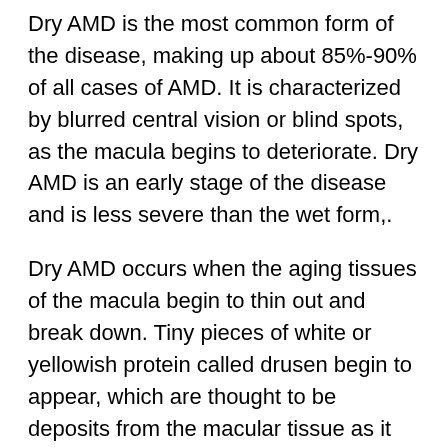Dry AMD is the most common form of the disease, making up about 85%-90% of all cases of AMD. It is characterized by blurred central vision or blind spots, as the macula begins to deteriorate. Dry AMD is an early stage of the disease and is less severe than the wet form,.
Dry AMD occurs when the aging tissues of the macula begin to thin out and break down. Tiny pieces of white or yellowish protein called drusen begin to appear, which are thought to be deposits from the macular tissue as it deteriorates. The appearance of these drusen are often what leads to a diagnosis of AMD during an eye exam.
With dry AMD vision loss happens gradually, however,